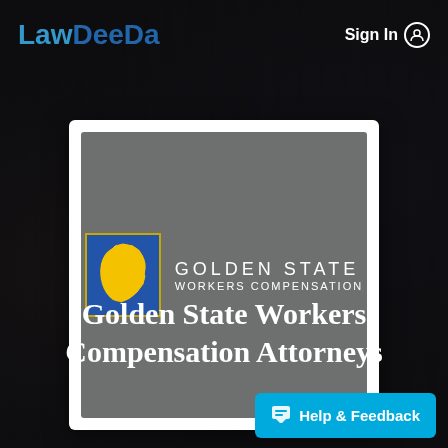LawDeeDa  Sign In
[Figure (logo): Golden State Workers Compensation logo: blue square with yellow California state silhouette, bordered in yellow, next to text 'GOLDEN STATE WORKERS COMPENSATION' in white on gray background]
Golden State Workers Compensation Attorneys
Help & Feedback